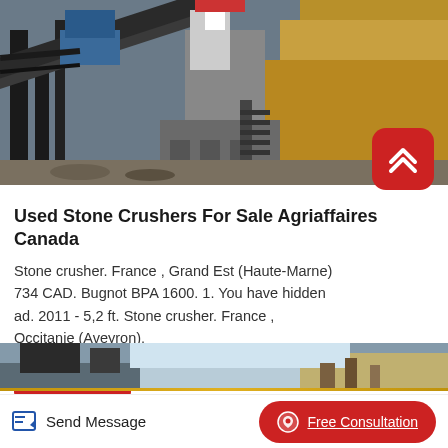[Figure (photo): Photograph of a stone crusher machine at a quarry site with conveyor belts, machinery, and exposed rock face in background]
Used Stone Crushers For Sale Agriaffaires Canada
Stone crusher. France , Grand Est (Haute-Marne) 734 CAD. Bugnot BPA 1600. 1. You have hidden ad. 2011 - 5,2 ft. Stone crusher. France , Occitanie (Aveyron).
Read More
[Figure (photo): Partial photograph of stone crushing equipment at a quarry, showing machinery and blue sky]
Send Message
Free Consultation